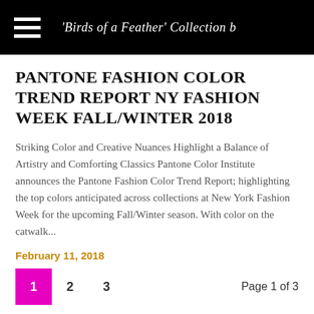'Birds of a Feather' Collection b…
PANTONE FASHION COLOR TREND REPORT NY FASHION WEEK FALL/WINTER 2018
Striking Color and Creative Nuances Highlight a Balance of Artistry and Comforting Classics Pantone Color Institute announces the Pantone Fashion Color Trend Report; highlighting the top colors anticipated across collections at New York Fashion Week for the upcoming Fall/Winter season. With color on the catwalk...
February 11, 2018
1  2  3  Page 1 of 3
RECENT POSTS